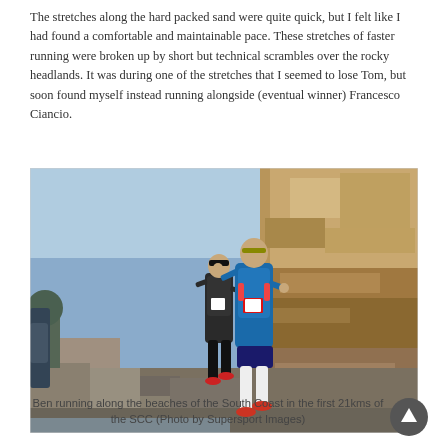The stretches along the hard packed sand were quite quick, but I felt like I had found a comfortable and maintainable pace. These stretches of faster running were broken up by short but technical scrambles over the rocky headlands. It was during one of the stretches that I seemed to lose Tom, but soon found myself instead running alongside (eventual winner) Francesco Ciancio.
[Figure (photo): Two trail runners wearing race bibs and hydration vests running along rocky coastal terrain with large sandstone cliffs in the background. The runner in front wears a blue outfit with white compression socks; the runner behind wears darker clothing.]
Ben running along the beaches of the South Coast in the first 21kms of the SCC (Photo by Supersport Images)